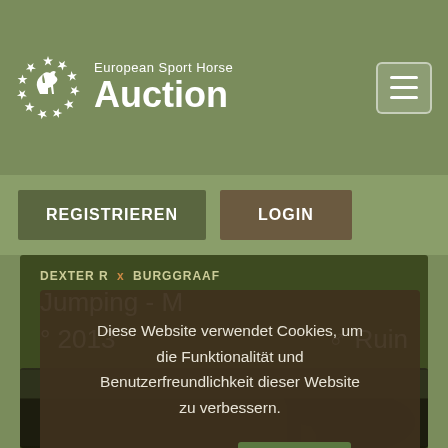[Figure (logo): European Sport Horse Auction logo with horse silhouette in circle of stars]
European Sport Horse Auction
REGISTRIEREN
LOGIN
DEXTER R x BURGGRAAF
Jumping - M
° 2013   ♂ Ruin
Diese Website verwendet Cookies, um die Funktionalität und Benutzerfreundlichkeit dieser Website zu verbessern.
Lesen sie mehr   Accept